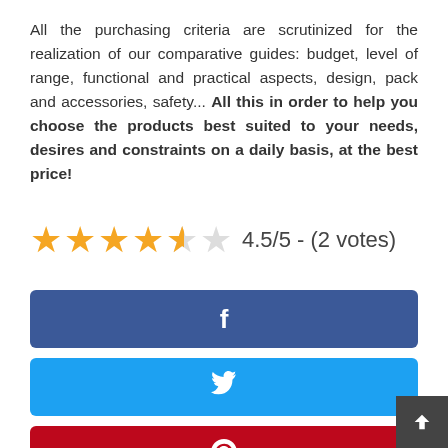All the purchasing criteria are scrutinized for the realization of our comparative guides: budget, level of range, functional and practical aspects, design, pack and accessories, safety... All this in order to help you choose the products best suited to your needs, desires and constraints on a daily basis, at the best price!
4.5/5 - (2 votes)
[Figure (other): Social share buttons: Facebook (dark blue), Twitter (light blue), Pinterest (red), LinkedIn (blue), with a scroll-to-top button in the bottom right corner.]